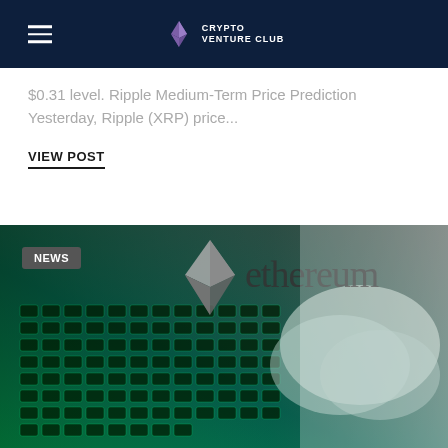CRYPTO VENTURE CLUB
$0.31 level. Ripple Medium-Term Price Prediction Yesterday, Ripple (XRP) price...
VIEW POST
[Figure (photo): Ethereum logo and wordmark over a photo of hands typing on a glowing green keyboard, with a NEWS badge in the upper left corner]